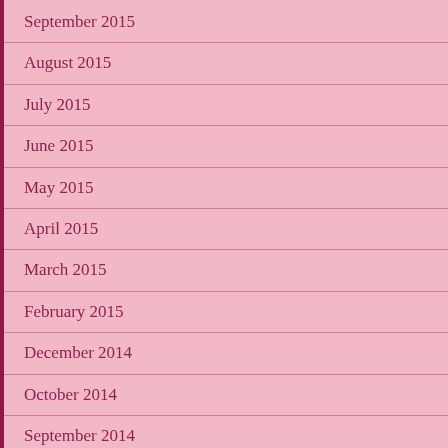September 2015
August 2015
July 2015
June 2015
May 2015
April 2015
March 2015
February 2015
December 2014
October 2014
September 2014
July 2014